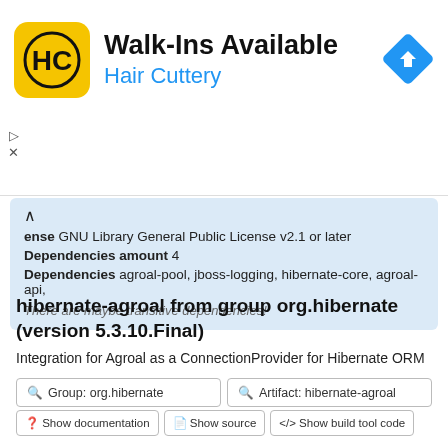[Figure (logo): Hair Cuttery advertisement banner with yellow HC logo, text 'Walk-Ins Available' and 'Hair Cuttery', and a blue navigation diamond icon]
License GNU Library General Public License v2.1 or later
Dependencies amount 4
Dependencies agroal-pool, jboss-logging, hibernate-core, agroal-api,
There are maybe transitive dependencies!
hibernate-agroal from group org.hibernate (version 5.3.10.Final)
Integration for Agroal as a ConnectionProvider for Hibernate ORM
Group: org.hibernate
Artifact: hibernate-agroal
Show documentation
Show source
Show build tool code
Download hibernate-agroal.jar (5.3.10.Final)
Add to Project
19 downloads